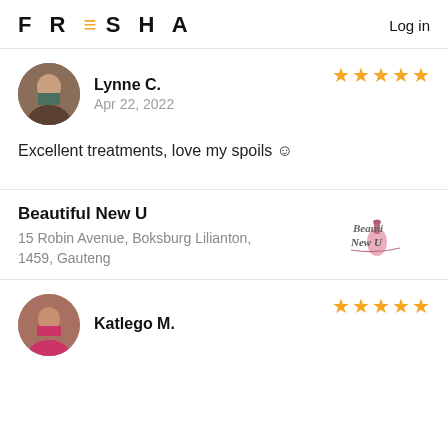FRESHA  Log in
Lynne C.
Apr 22, 2022
★★★★★
Excellent treatments, love my spoils ☺
Beautiful New U
15 Robin Avenue, Boksburg Lilianton, 1459, Gauteng
Katlego M.
★★★★★